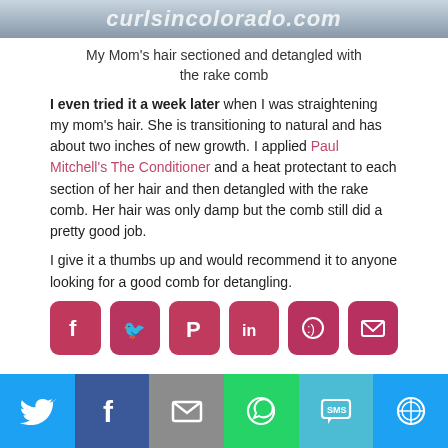[Figure (photo): Top portion of a photo showing curlsincolorado.com website header with a woman's hair]
My Mom's hair sectioned and detangled with the rake comb
I even tried it a week later when I was straightening my mom's hair. She is transitioning to natural and has about two inches of new growth. I applied Paul Mitchell's The Conditioner and a heat protectant to each section of her hair and then detangled with the rake comb. Her hair was only damp but the comb still did a pretty good job.
I give it a thumbs up and would recommend it to anyone looking for a good comb for detangling.
[Figure (infographic): Row of social share buttons: Facebook, Twitter, Pinterest, LinkedIn, Reddit, Email]
[Figure (infographic): Bottom social sharing bar with Twitter, Facebook, Email, WhatsApp, SMS, More buttons]